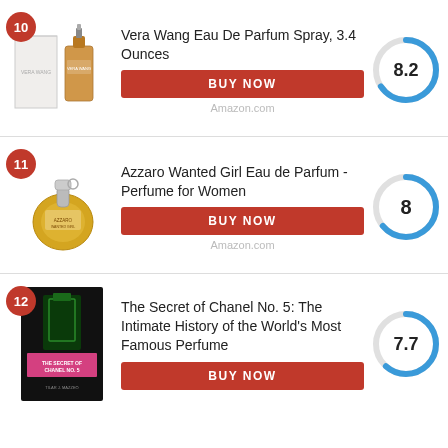10 - Vera Wang Eau De Parfum Spray, 3.4 Ounces - Score: 8.2 - BUY NOW - Amazon.com
11 - Azzaro Wanted Girl Eau de Parfum - Perfume for Women - Score: 8 - BUY NOW - Amazon.com
12 - The Secret of Chanel No. 5: The Intimate History of the World's Most Famous Perfume - Score: 7.7 - BUY NOW